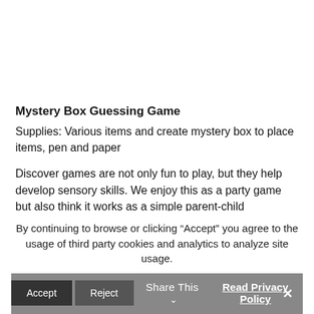Mystery Box Guessing Game
Supplies: Various items and create mystery box to place items, pen and paper
Discover games are not only fun to play, but they help develop sensory skills. We enjoy this as a party game but also think it works as a simple parent-child
By continuing to browse or clicking “Accept” you agree to the usage of third party cookies and analytics to analyze site usage.
Accept | Reject | Share This ⌄ | Read Privacy Policy | ×